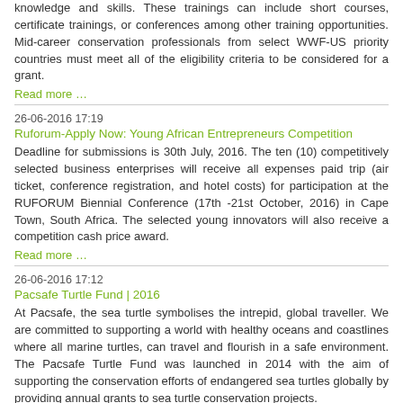knowledge and skills. These trainings can include short courses, certificate trainings, or conferences among other training opportunities. Mid-career conservation professionals from select WWF-US priority countries must meet all of the eligibility criteria to be considered for a grant.
Read more …
26-06-2016 17:19
Ruforum-Apply Now: Young African Entrepreneurs Competition
Deadline for submissions is 30th July, 2016. The ten (10) competitively selected business enterprises will receive all expenses paid trip (air ticket, conference registration, and hotel costs) for participation at the RUFORUM Biennial Conference (17th -21st October, 2016) in Cape Town, South Africa. The selected young innovators will also receive a competition cash price award.
Read more …
26-06-2016 17:12
Pacsafe Turtle Fund | 2016
At Pacsafe, the sea turtle symbolises the intrepid, global traveller. We are committed to supporting a world with healthy oceans and coastlines where all marine turtles, can travel and flourish in a safe environment. The Pacsafe Turtle Fund was launched in 2014 with the aim of supporting the conservation efforts of endangered sea turtles globally by providing annual grants to sea turtle conservation projects.
Read more …
26-06-2016 17:01
New MacArthur Competition to Award $100 Million to Help Solve a Critical Problem of Our Time.
A new competition launched today will award a $100 million grant to a single proposal designed to help solve a critical problem affecting people, places, or